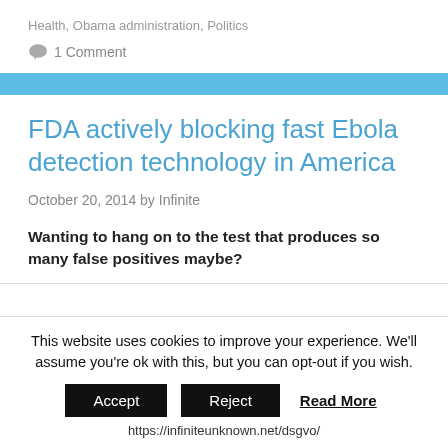Health, Obama administration, Politics
1 Comment
FDA actively blocking fast Ebola detection technology in America
October 20, 2014 by Infinite
Wanting to hang on to the test that produces so many false positives maybe?
This website uses cookies to improve your experience. We'll assume you're ok with this, but you can opt-out if you wish. Accept Reject Read More https://infiniteunknown.net/dsgvo/